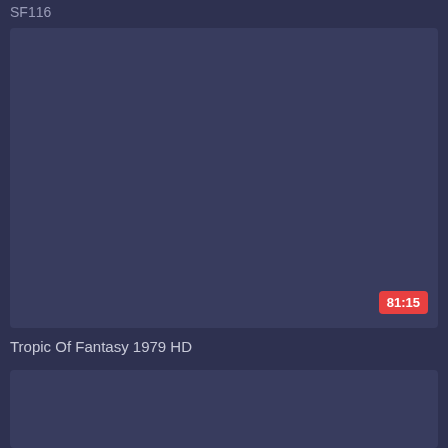SF116
[Figure (screenshot): Video thumbnail placeholder with dark blue-gray background and a red duration badge showing 81:15 in the bottom right corner]
Tropic Of Fantasy 1979 HD
[Figure (screenshot): Second video thumbnail placeholder with dark blue-gray background, partially visible]